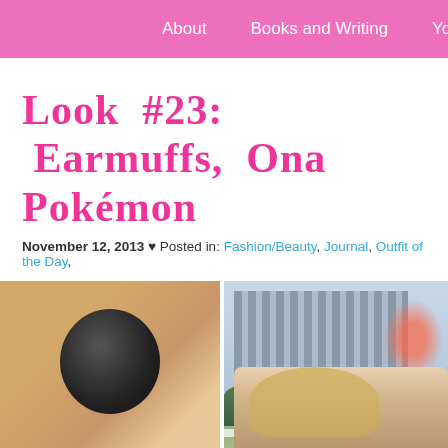About    Books and Writing    YouTube
Look #23: Earmuffs, Onc... Pokémon
November 12, 2013 ♥ Posted in: Fashion/Beauty, Journal, Outfit of the Day,
[Figure (photo): Close-up photo of a black earmuff on a person's ear with pink/blonde hair visible]
[Figure (photo): Close-up of a dark knit sweater with Pokémon pattern in teal/grey]
[Figure (photo): Young woman with long blonde hair smiling outdoors near Rockefeller Center with Christmas lights and shrubs visible, wearing a patterned coat]